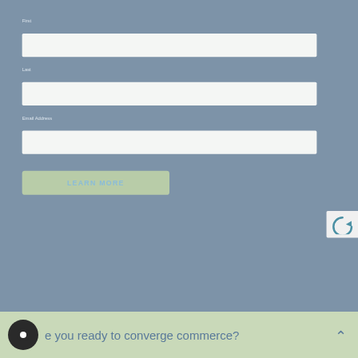First
[Figure (screenshot): Empty white input field for First name]
Last
[Figure (screenshot): Empty white input field for Last name]
Email Address
[Figure (screenshot): Empty white input field for Email Address]
LEARN MORE
[Figure (screenshot): Partial reCAPTCHA widget visible at bottom right]
e you ready to converge commerce?